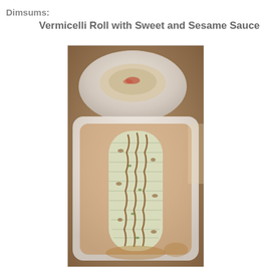Dimsums:
Vermicelli Roll with Sweet and Sesame Sauce
[Figure (photo): A plate of Vermicelli Roll served on a rectangular white plate with sweet and sesame sauce drizzled over it, set in a restaurant. Another dish is visible in the background on a round white plate.]